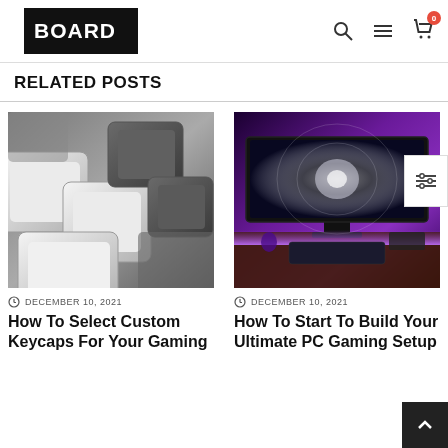[Figure (logo): BOARD logo - black rectangle with white vertical strip on left and white BOARD text]
RELATED POSTS
[Figure (photo): Close-up photo of white and grey mechanical keyboard keycaps in grayscale]
[Figure (photo): Gaming PC setup with purple/violet ambient lighting and a monitor displaying a space/storm scene]
DECEMBER 10, 2021
How To Select Custom Keycaps For Your Gaming
DECEMBER 10, 2021
How To Start To Build Your Ultimate PC Gaming Setup